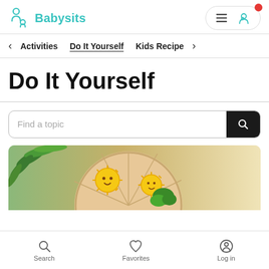Babysits
< Activities   Do It Yourself   Kids Recipe >
Do It Yourself
[Figure (screenshot): Search bar with placeholder text 'Find a topic' and a dark search button with magnifying glass icon]
[Figure (photo): Partial photo showing a colorful wooden puzzle with smiley sun illustrations and green plant in background]
Search   Favorites   Log in